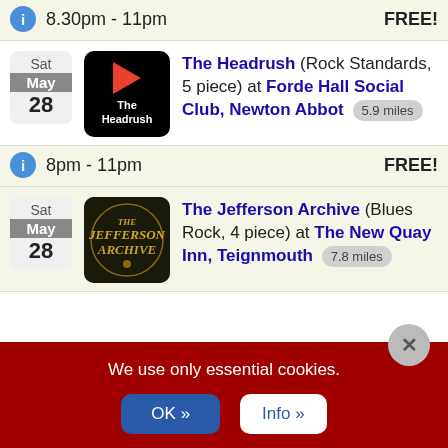8.30pm - 11pm   FREE!
The Headrush (Rock Standards, 5 piece) at Forde Hall Social Club, Newton Abbot   5.9 miles
8pm - 11pm   FREE!
The Jefferson Archive (Blues Rock, 4 piece) at The New Quay Inn, Teignmouth   7.8 miles
We use only essential cookies.
OK »
Info »